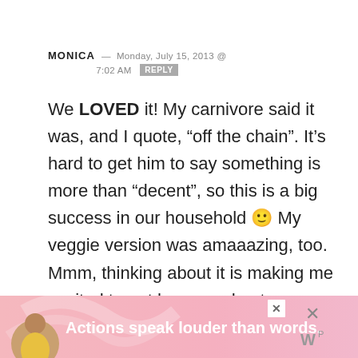MONICA — MONDAY, JULY 15, 2013 @ 7:02 AM [REPLY]
We LOVED it! My carnivore said it was, and I quote, “off the chain”. It’s hard to get him to say something is more than “decent”, so this is a big success in our household 🙂 My veggie version was amaaazing, too. Mmm, thinking about it is making me excited to get home and eat leftovers!
[Figure (infographic): Advertisement banner at the bottom: pink/coral gradient background with a person in a yellow shirt, bold white text 'Actions speak louder than words.', a close X button, and a W logo with superscript P on the right side.]